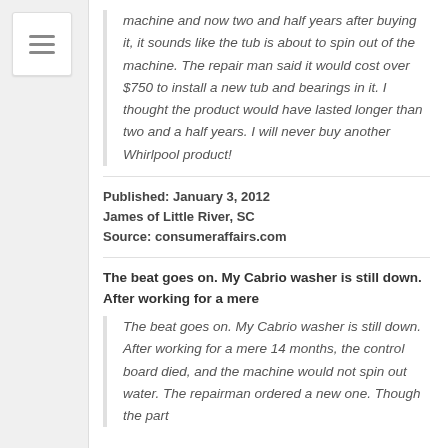machine and now two and half years after buying it, it sounds like the tub is about to spin out of the machine. The repair man said it would cost over $750 to install a new tub and bearings in it. I thought the product would have lasted longer than two and a half years. I will never buy another Whirlpool product!
Published: January 3, 2012
James of Little River, SC
Source: consumeraffairs.com
The beat goes on. My Cabrio washer is still down. After working for a mere
The beat goes on. My Cabrio washer is still down. After working for a mere 14 months, the control board died, and the machine would not spin out water. The repairman ordered a new one. Though the part